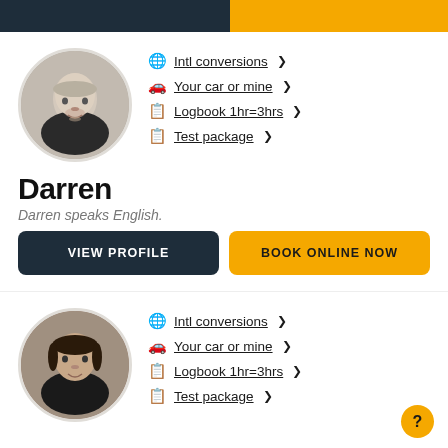[Figure (photo): Dark header bar split: dark navy left side, yellow right side]
[Figure (photo): Circular profile photo of Darren, a middle-aged man with grey hair and beard]
Intl conversions >
Your car or mine >
Logbook 1hr=3hrs >
Test package >
Darren
Darren speaks English.
VIEW PROFILE
BOOK ONLINE NOW
[Figure (photo): Circular profile photo of a second instructor, a younger man with dark hair]
Intl conversions >
Your car or mine >
Logbook 1hr=3hrs >
Test package >